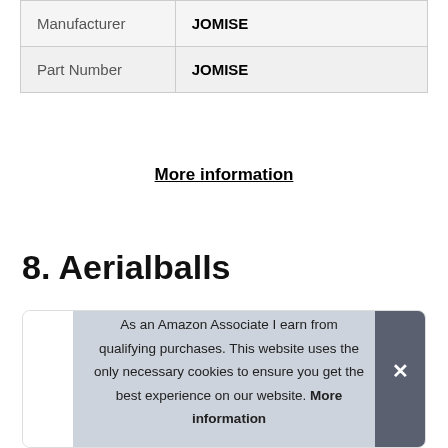| Manufacturer | JOMISE |
| Part Number | JOMISE |
More information
8. Aerialballs
[Figure (photo): Product image of Aerialballs in a white rounded card, partially visible with red and light blue/white colors]
As an Amazon Associate I earn from qualifying purchases. This website uses the only necessary cookies to ensure you get the best experience on our website. More information